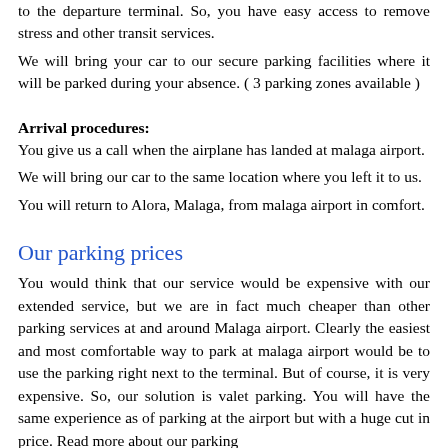to the departure terminal. So, you have easy access to remove stress and other transit services.
We will bring your car to our secure parking facilities where it will be parked during your absence. ( 3 parking zones available )
Arrival procedures:
You give us a call when the airplane has landed at malaga airport.
We will bring our car to the same location where you left it to us.
You will return to Alora, Malaga, from malaga airport in comfort.
Our parking prices
You would think that our service would be expensive with our extended service, but we are in fact much cheaper than other parking services at and around Malaga airport. Clearly the easiest and most comfortable way to park at malaga airport would be to use the parking right next to the terminal. But of course, it is very expensive. So, our solution is valet parking. You will have the same experience as of parking at the airport but with a huge cut in price. Read more about our parking